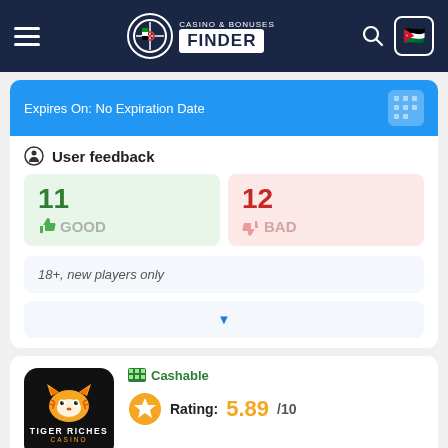Casino & Bonuses Finder
Expires On: No Expiration Date
User feedback
11 GOOD
12 BAD
18+, new players only
Cashable
Rating: 5.89/10
Available for players from Jordan
Free Spins: 20 FS